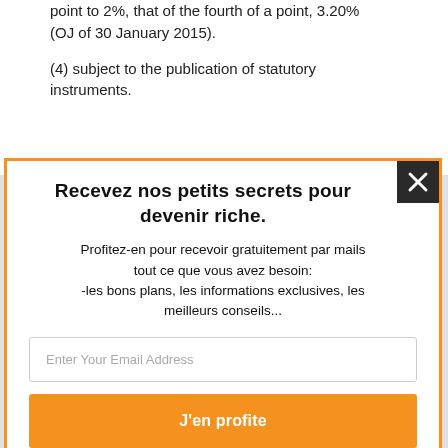point to 2%, that of the fourth of a point, 3.20% (OJ of 30 January 2015).
(4) subject to the publication of statutory instruments.
Recevez nos petits secrets pour devenir riche.
Profitez-en pour recevoir gratuitement par mails tout ce que vous avez besoin: -les bons plans, les informations exclusives, les meilleurs conseils...
Enter Your Email Address
J'en profite